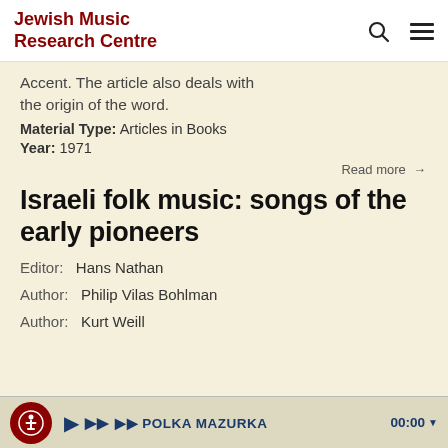Jewish Music Research Centre
Accent. The article also deals with the origin of the word.
Material Type: Articles in Books
Year: 1971
Read more →
Israeli folk music: songs of the early pioneers
Editor:  Hans Nathan
Author:  Philip Vilas Bohlman
Author:  Kurt Weill
POLKA MAZURKA  00:00